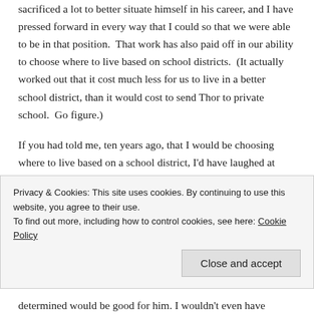sacrificed a lot to better situate himself in his career, and I have pressed forward in every way that I could so that we were able to be in that position.  That work has also paid off in our ability to choose where to live based on school districts.  (It actually worked out that it cost much less for us to live in a better school district, than it would cost to send Thor to private school.  Go figure.)

If you had told me, ten years ago, that I would be choosing where to live based on a school district, I'd have laughed at you.  If you had told me that I would be sitting down and looking at the cost of private school, versus the cost of living in a different school district...
Privacy & Cookies: This site uses cookies. By continuing to use this website, you agree to their use.
To find out more, including how to control cookies, see here: Cookie Policy
determined would be good for him. I wouldn't even have